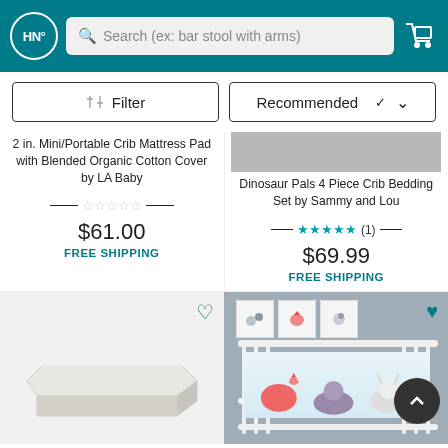HN - Search (ex: bar stool with arms)
Filter | Recommended
2 in. Mini/Portable Crib Mattress Pad with Blended Organic Cotton Cover by LA Baby
$61.00
FREE SHIPPING
Dinosaur Pals 4 Piece Crib Bedding Set by Sammy and Lou
★★★★★ (1)
$69.99
FREE SHIPPING
[Figure (photo): Crib mattress pad product image - white rectangular mattress]
[Figure (photo): Dinosaur/animal themed crib bedding set in white crib with colorful artwork on wall]